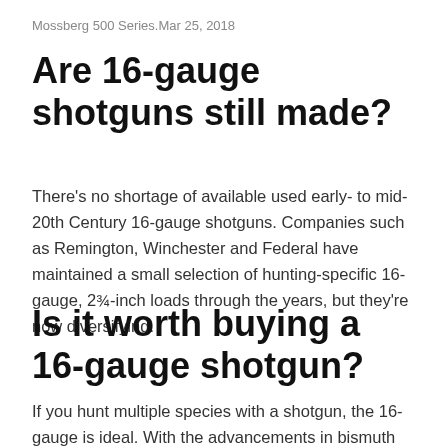Mossberg 500 Series.Mar 25, 2018
Are 16-gauge shotguns still made?
There's no shortage of available used early- to mid-20th Century 16-gauge shotguns. Companies such as Remington, Winchester and Federal have maintained a small selection of hunting-specific 16-gauge, 2¾-inch loads through the years, but they're now diversifying.
Is it worth buying a 16-gauge shotgun?
If you hunt multiple species with a shotgun, the 16-gauge is ideal. With the advancements in bismuth and tungsten shotshells and choke technology, the 16 can handle any